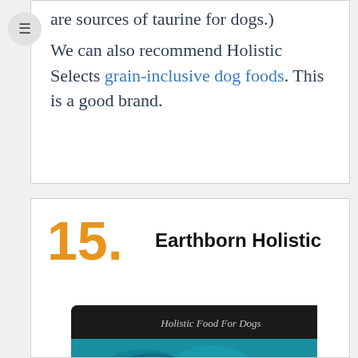are sources of taurine for dogs.)
We can also recommend Holistic Selects grain-inclusive dog foods. This is a good brand.
15.
Earthborn Holistic
[Figure (photo): Earthborn Holistic dog food product bag with teal/blue decorative design and text 'Holistic Food For Dogs']